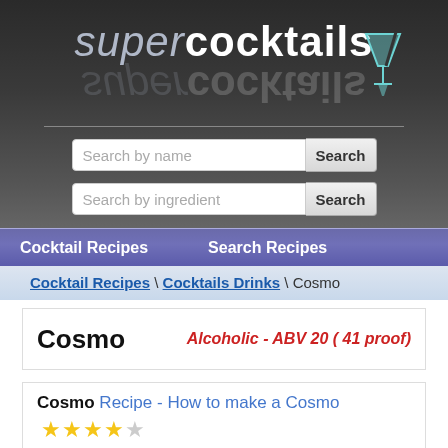[Figure (logo): Supercocktails logo with stylized text 'super' in grey italic and 'cocktails' in white bold, with a cocktail glass icon, on dark grey gradient background with reflection]
[Figure (screenshot): Two search bars: 'Search by name' and 'Search by ingredient', each with a Search button]
Cocktail Recipes   Search Recipes
Cocktail Recipes \ Cocktails Drinks \ Cosmo
Cosmo
Alcoholic - ABV 20 ( 41 proof)
Cosmo Recipe - How to make a Cosmo
[Figure (other): 4 out of 5 star rating shown with yellow filled stars and one empty star]